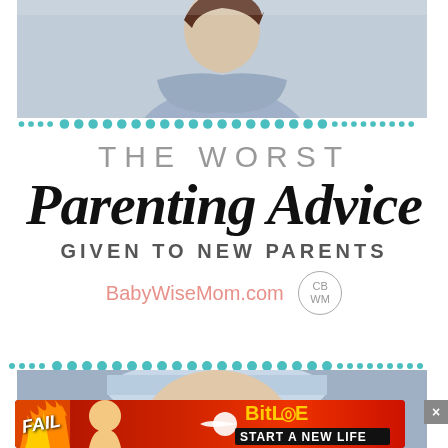[Figure (photo): Woman with arms crossed, wearing light blue top, photographed from waist up against light background]
THE WORST Parenting Advice GIVEN TO NEW PARENTS
BabyWiseMom.com
[Figure (photo): Close-up of a young toddler/child with blue eyes looking at the camera, wearing what appears to be a hat]
[Figure (infographic): Advertisement banner for BitLife game with 'FAIL' text, animated character, flames, and 'START A NEW LIFE' tagline]